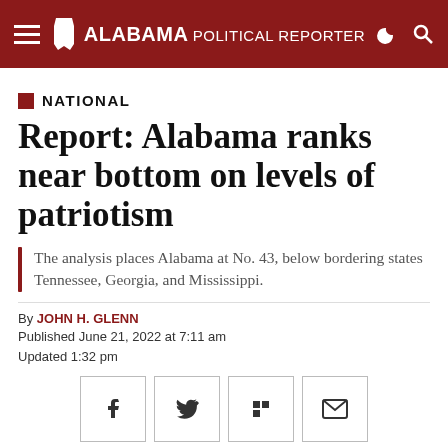Alabama Political Reporter
NATIONAL
Report: Alabama ranks near bottom on levels of patriotism
The analysis places Alabama at No. 43, below bordering states Tennessee, Georgia, and Mississippi.
By JOHN H. GLENN
Published June 21, 2022 at 7:11 am
Updated 1:32 pm
[Figure (other): Social share buttons: Facebook, Twitter, Flipboard, Email]
[Figure (photo): American flag photo at bottom of page]